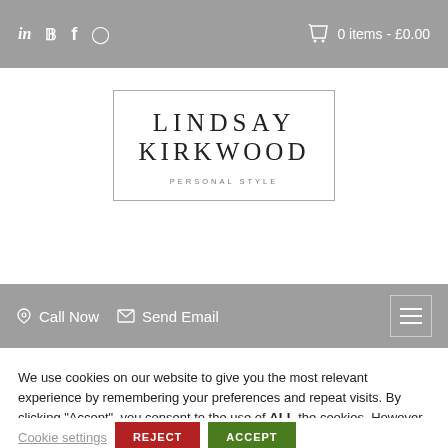in  p  f  [instagram]   🛍 0 items - £0.00
[Figure (logo): Lindsay Kirkwood Personal Style logo in a rectangular border]
📞 Call Now  ✉ Send Email  [hamburger menu]
We use cookies on our website to give you the most relevant experience by remembering your preferences and repeat visits. By clicking "Accept", you consent to the use of ALL the cookies. However you may visit Cookie Settings to provide a controlled consent.
Cookie settings  REJECT  ACCEPT